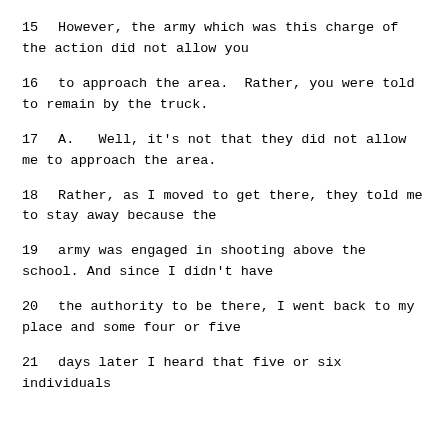15     However, the army which was this charge of the action did not allow you
16     to approach the area.  Rather, you were told to remain by the truck.
17        A.   Well, it's not that they did not allow me to approach the area.
18     Rather, as I moved to get there, they told me to stay away because the
19     army was engaged in shooting above the school. And since I didn't have
20     the authority to be there, I went back to my place and some four or five
21     days later I heard that five or six individuals